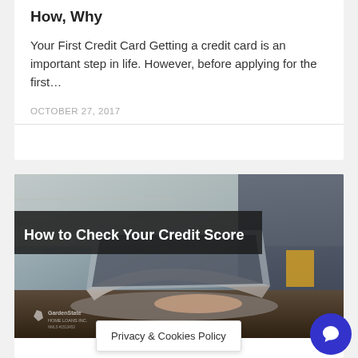How, Why
Your First Credit Card Getting a credit card is an important step in life. However, before applying for the first...
OCTOBER 27, 2017
[Figure (photo): Person sitting at a desk working on a laptop in a cafe or office setting. A dark banner overlay reads 'How to Check Your Credit Score'. GardenState Home Loans logo watermark visible in lower left.]
How to Chec